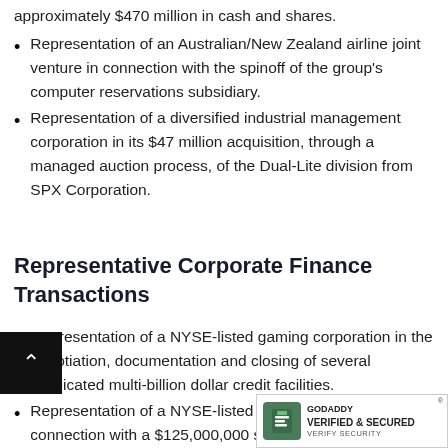approximately $470 million in cash and shares.
Representation of an Australian/New Zealand airline joint venture in connection with the spinoff of the group's computer reservations subsidiary.
Representation of a diversified industrial management corporation in its $47 million acquisition, through a managed auction process, of the Dual-Lite division from SPX Corporation.
Representative Corporate Finance Transactions
Representation of a NYSE-listed gaming corporation in the negotiation, documentation and closing of several syndicated multi-billion dollar credit facilities.
Representation of a NYSE-listed com... connection with a $125,000,000 synthetic lease